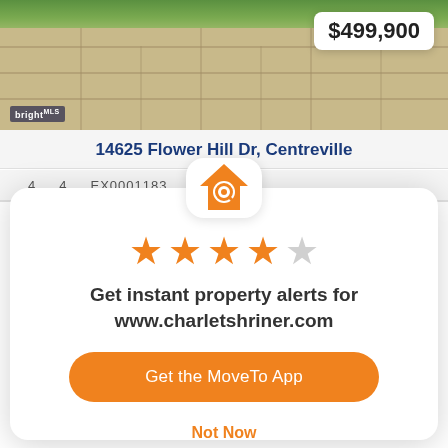[Figure (photo): Outdoor paver walkway with greenery at the top, showing stone tile path]
$499,900
14625 Flower Hill Dr, Centreville
[Figure (logo): MoveTo app icon - orange house with magnifying glass]
★★★★☆ (4 out of 5 stars)
Get instant property alerts for www.charletshriner.com
Get the MoveTo App
Not Now